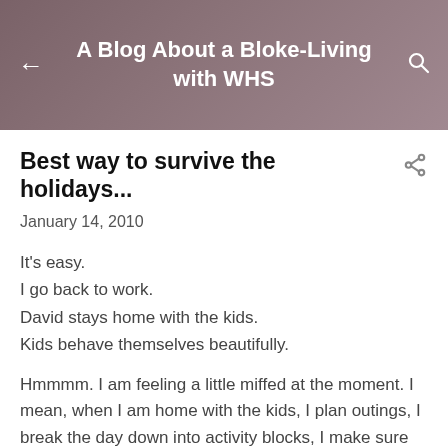A Blog About a Bloke-Living with WHS
Best way to survive the holidays...
January 14, 2010
It's easy.
I go back to work.
David stays home with the kids.
Kids behave themselves beautifully.
Hmmmm. I am feeling a little miffed at the moment. I mean, when I am home with the kids, I plan outings, I break the day down into activity blocks, I make sure that they get lot's of attention...
David, on the other hand, takes a more relaxed attitude. He manages to take them to the bakery for coffee each day and